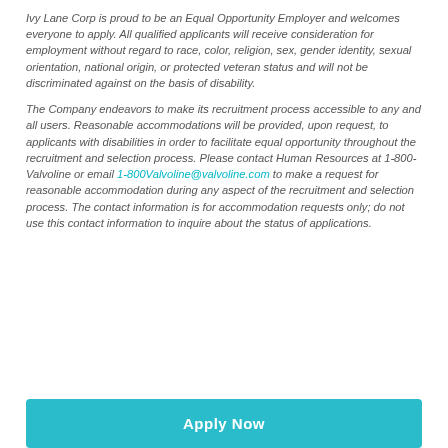Ivy Lane Corp is proud to be an Equal Opportunity Employer and welcomes everyone to apply. All qualified applicants will receive consideration for employment without regard to race, color, religion, sex, gender identity, sexual orientation, national origin, or protected veteran status and will not be discriminated against on the basis of disability.
The Company endeavors to make its recruitment process accessible to any and all users. Reasonable accommodations will be provided, upon request, to applicants with disabilities in order to facilitate equal opportunity throughout the recruitment and selection process. Please contact Human Resources at 1-800-Valvoline or email 1-800Valvoline@valvoline.com to make a request for reasonable accommodation during any aspect of the recruitment and selection process. The contact information is for accommodation requests only; do not use this contact information to inquire about the status of applications.
Apply Now